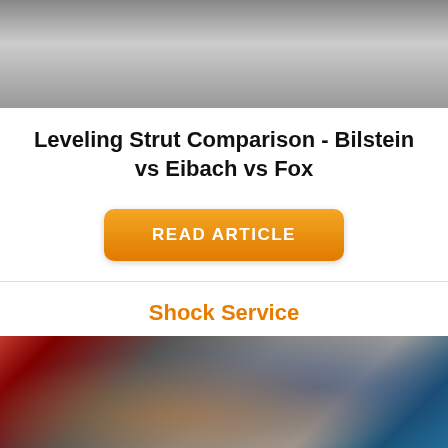[Figure (photo): Top portion of a vehicle lifted on a jack in a garage setting, partially cropped]
Leveling Strut Comparison - Bilstein vs Eibach vs Fox
READ ARTICLE
Shock Service
[Figure (photo): Close-up of a hand holding a metal shock absorber component, with red and blue equipment in the background]